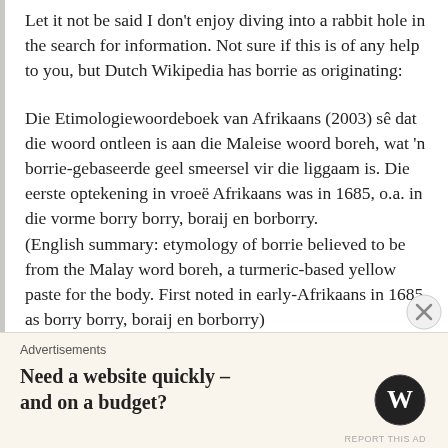Let it not be said I don't enjoy diving into a rabbit hole in the search for information. Not sure if this is of any help to you, but Dutch Wikipedia has borrie as originating:
Die Etimologiewoordeboek van Afrikaans (2003) sê dat die woord ontleen is aan die Maleise woord boreh, wat 'n borrie-gebaseerde geel smeersel vir die liggaam is. Die eerste optekening in vroeë Afrikaans was in 1685, o.a. in die vorme borry borry, boraij en borborry.
(English summary: etymology of borrie believed to be from the Malay word boreh, a turmeric-based yellow paste for the body. First noted in early-Afrikaans in 1685 as borry borry, boraij en borborry)
Advertisements
Need a website quickly – and on a budget?